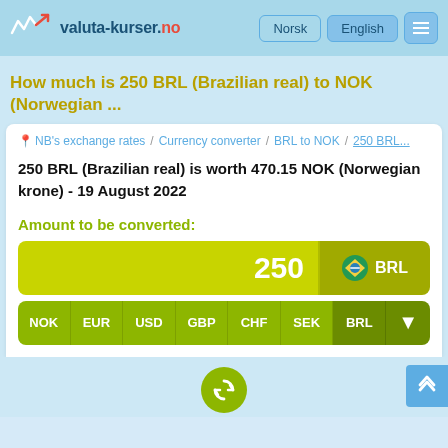valuta-kurser.no — Norsk / English
How much is 250 BRL (Brazilian real) to NOK (Norwegian ...
NB's exchange rates / Currency converter / BRL to NOK / 250 BRL...
250 BRL (Brazilian real) is worth 470.15 NOK (Norwegian krone) - 19 August 2022
Amount to be converted:
250 BRL
NOK EUR USD GBP CHF SEK BRL ↓